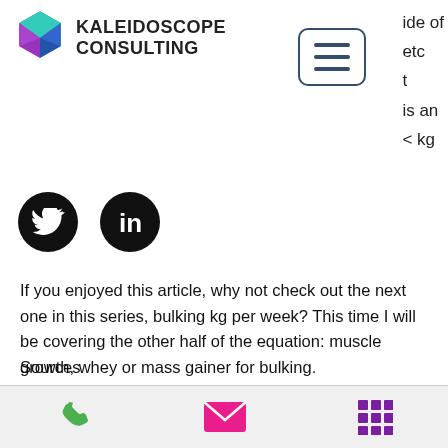[Figure (logo): Kaleidoscope Consulting logo with geometric hexagon shape in teal, blue, and purple, with company name text]
ide of
etc
t
is an
< kg
[Figure (other): Hamburger menu icon in a rounded rectangle border]
[Figure (other): Twitter social icon (white bird on black circle) and LinkedIn social icon (white 'in' on black circle)]
If you enjoyed this article, why not check out the next one in this series, bulking kg per week? This time I will be covering the other half of the equation: muscle growth, whey or mass gainer for bulking.
Sources
[1] "Injury is linked to use of steroids", Medscape, bulking hacks.com, bulking hacks. Accessed 15 December 2017. http://www.medscape.com/viewarticle/10.113
[Figure (other): Bottom navigation bar with phone icon (green), email icon (pink/magenta), and grid/apps icon (purple)]